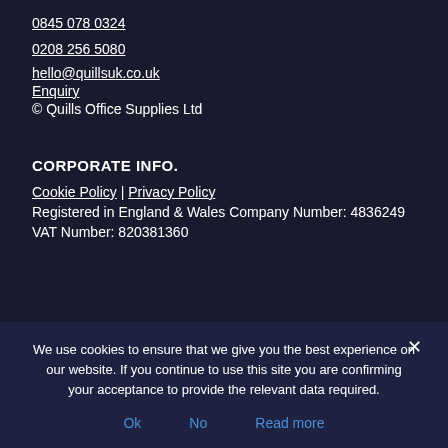0845 078 0324
0208 256 5080
hello@quillsuk.co.uk
Enquiry
© Quills Office Supplies Ltd
CORPORATE INFO.
Cookie Policy | Privacy Policy
Registered in England & Wales Company Number: 4836249
VAT Number: 820381360
We use cookies to ensure that we give you the best experience on our website. If you continue to use this site you are confirming your acceptance to provide the relevant data required.
Ok
No
Read more